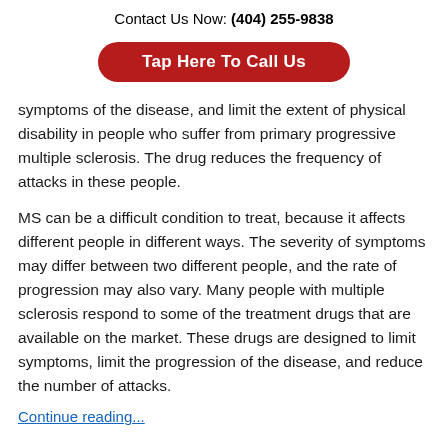Contact Us Now: (404) 255-9838
[Figure (other): Red rounded button with white bold text: Tap Here To Call Us]
symptoms of the disease, and limit the extent of physical disability in people who suffer from primary progressive multiple sclerosis. The drug reduces the frequency of attacks in these people.
MS can be a difficult condition to treat, because it affects different people in different ways. The severity of symptoms may differ between two different people, and the rate of progression may also vary. Many people with multiple sclerosis respond to some of the treatment drugs that are available on the market. These drugs are designed to limit symptoms, limit the progression of the disease, and reduce the number of attacks.
Continue reading...